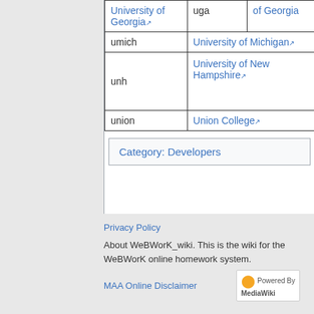|  | University Name |  |
| --- | --- | --- |
| University of Georgia ↗ | uga | of Georgia ↗ |
| umich | University of Michigan ↗ |  |
| unh | University of New Hampshire ↗ |  |
| union | Union College ↗ |  |
Category: Developers
Privacy Policy
About WeBWorK_wiki. This is the wiki for the WeBWorK online homework system.
MAA Online Disclaimer